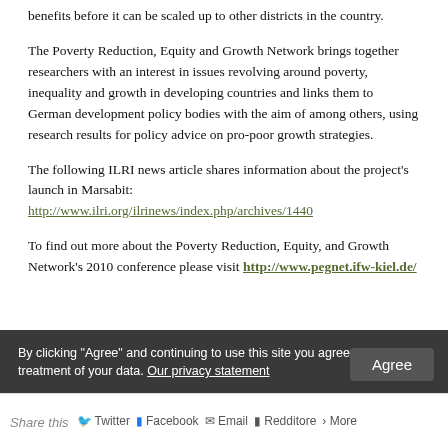benefits before it can be scaled up to other districts in the country.
The Poverty Reduction, Equity and Growth Network brings together researchers with an interest in issues revolving around poverty, inequality and growth in developing countries and links them to German development policy bodies with the aim of among others, using research results for policy advice on pro-poor growth strategies.
The following ILRI news article shares information about the project's launch in Marsabit: http://www.ilri.org/ilrinews/index.php/archives/1440
To find out more about the Poverty Reduction, Equity, and Growth Network's 2010 conference please visit http://www.pegnet.ifw-kiel.de/